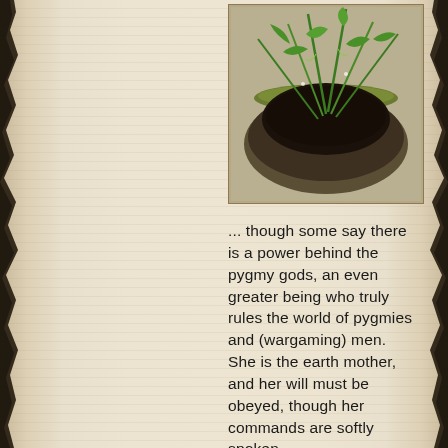[Figure (photo): A photo of green grass-like plants growing from a round moss-covered stone pot or bowl on a beige fabric surface.]
... though some say there is a power behind the pygmy gods, an even greater being who truly rules the world of pygmies and (wargaming) men. She is the earth mother, and her will must be obeyed, though her commands are softly spoken.